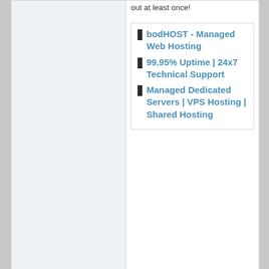out at least once!
[Figure (other): Advertisement block for bodHOST - Managed Web Hosting with bullet points: bodHOST - Managed Web Hosting, 99.95% Uptime | 24x7 Technical Support, Managed Dedicated Servers | VPS Hosting | Shared Hosting]
Reply With Quote
01-25-2022, 07:03 AM  #4
Peligino
Senior Member
Join Date: Mar 2009
Posts: 1,218
I believe cloudarion.com SSD VPS has been pretty good with my site I have hosted on them. Lots of space and